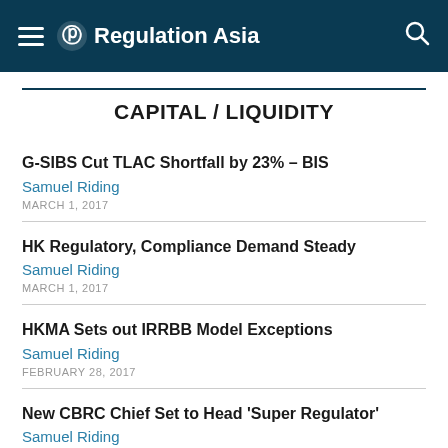Regulation Asia
CAPITAL / LIQUIDITY
G-SIBS Cut TLAC Shortfall by 23% – BIS
Samuel Riding
MARCH 1, 2017
HK Regulatory, Compliance Demand Steady
Samuel Riding
MARCH 1, 2017
HKMA Sets out IRRBB Model Exceptions
Samuel Riding
FEBRUARY 28, 2017
New CBRC Chief Set to Head 'Super Regulator'
Samuel Riding